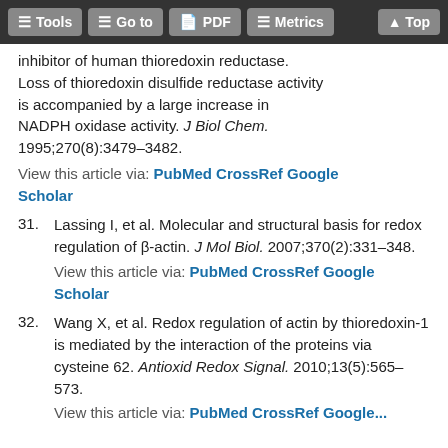Tools  Go to  PDF  Metrics  Top
inhibitor of human thioredoxin reductase. Loss of thioredoxin disulfide reductase activity is accompanied by a large increase in NADPH oxidase activity. J Biol Chem. 1995;270(8):3479–3482.
View this article via: PubMed CrossRef Google Scholar
31. Lassing I, et al. Molecular and structural basis for redox regulation of β-actin. J Mol Biol. 2007;370(2):331–348.
View this article via: PubMed CrossRef Google Scholar
32. Wang X, et al. Redox regulation of actin by thioredoxin-1 is mediated by the interaction of the proteins via cysteine 62. Antioxid Redox Signal. 2010;13(5):565–573.
View this article via: PubMed CrossRef Google...